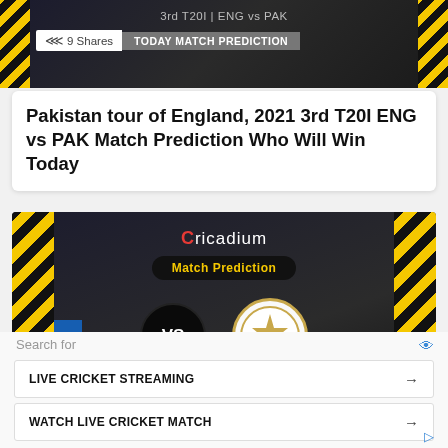3rd T20I | ENG vs PAK
9 Shares   TODAY MATCH PREDICTION
Pakistan tour of England, 2021 3rd T20I ENG vs PAK Match Prediction Who Will Win Today
[Figure (illustration): Cricadium Match Prediction banner image showing VS circle between ENG and PAK logos, with yellow/black diagonal stripes on sides and PCB logo on right]
Search for
LIVE CRICKET STREAMING →
WATCH LIVE CRICKET MATCH →